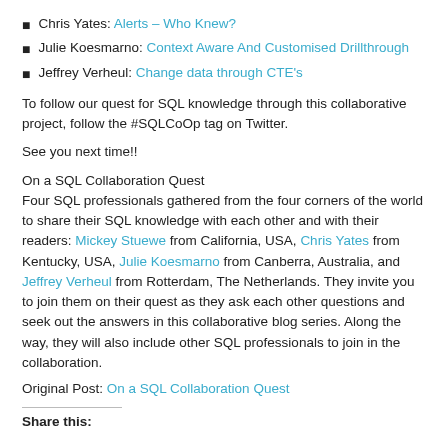Chris Yates: Alerts – Who Knew?
Julie Koesmarno: Context Aware And Customised Drillthrough
Jeffrey Verheul: Change data through CTE's
To follow our quest for SQL knowledge through this collaborative project, follow the #SQLCoOp tag on Twitter.
See you next time!!
On a SQL Collaboration Quest
Four SQL professionals gathered from the four corners of the world to share their SQL knowledge with each other and with their readers: Mickey Stuewe from California, USA, Chris Yates from Kentucky, USA, Julie Koesmarno from Canberra, Australia, and Jeffrey Verheul from Rotterdam, The Netherlands. They invite you to join them on their quest as they ask each other questions and seek out the answers in this collaborative blog series. Along the way, they will also include other SQL professionals to join in the collaboration.
Original Post: On a SQL Collaboration Quest
Share this: